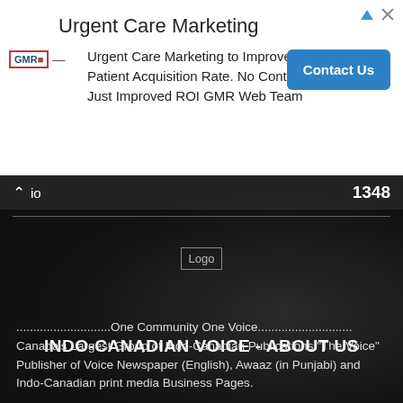[Figure (other): Ad banner for Urgent Care Marketing by GMR Web Team with Contact Us button]
io  1348
[Figure (logo): Logo placeholder image in dark hero section]
INDO-CANADIAN VOICE - ABOUT US
............................One Community One Voice............................ Canada’s Largest Group of Indo-Canadian Publications "The Voice" Publisher of Voice Newspaper (English), Awaaz (in Punjabi) and Indo-Canadian print media Business Pages.